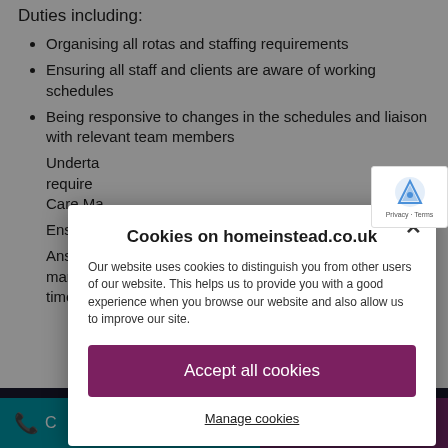Duties including:
Organising all rotas and staffing requirements
Ensuring all staff and clients are aware of working schedules
Being responsive to changes in the schedules and liaison with relevant team members
Undertaking any support or admin duties as required... Care Ma...
Ensuring...
Answering... manner... timely w...
[Figure (screenshot): Cookie consent modal dialog for homeinstead.co.uk with title 'Cookies on homeinstead.co.uk', explanatory text, 'Accept all cookies' button in purple, and 'Manage cookies' underlined link. Close X button in top right.]